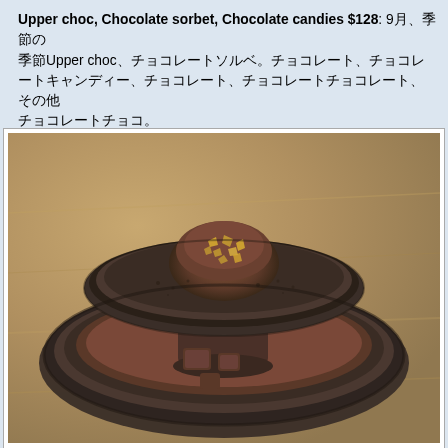Upper choc, Chocolate sorbet, Chocolate candies $128: 9月、季節のUpper choc、チョコレートソルベ。チョコレート、チョコレートキャンディー、チョコレート、チョコレートチョコレート、その他チョコレートチョコ。
[Figure (photo): A dark stone or ceramic bowl/plate containing chocolate sorbet and chocolate candies, garnished with gold flakes, served in an artistic plating style on a wooden table.]